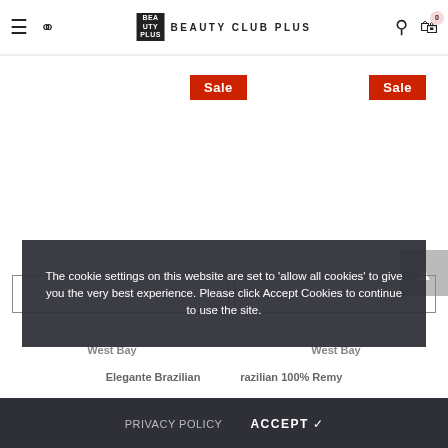BEAUTY CLUB PLUS
[Figure (screenshot): E-commerce product listing page for Beauty Club Plus showing two products with Sale badges, product images (not visible), Add to Cart buttons, West Bay labels, and Elegante Brazilian product text. A back-to-top button appears on the right side.]
The cookie settings on this website are set to 'allow all cookies' to give you the very best experience. Please click Accept Cookies to continue to use the site.
PRIVACY POLICY
ACCEPT ✓